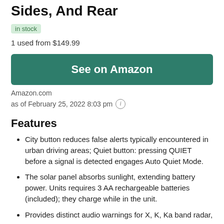Sides, And Rear
in stock
1 used from $149.99
See on Amazon
Amazon.com
as of February 25, 2022 8:03 pm
Features
City button reduces false alerts typically encountered in urban driving areas; Quiet button: pressing QUIET before a signal is detected engages Auto Quiet Mode.
The solar panel absorbs sunlight, extending battery power. Units requires 3 AA rechargeable batteries (included); they charge while in the unit.
Provides distinct audio warnings for X, K, Ka band radar,